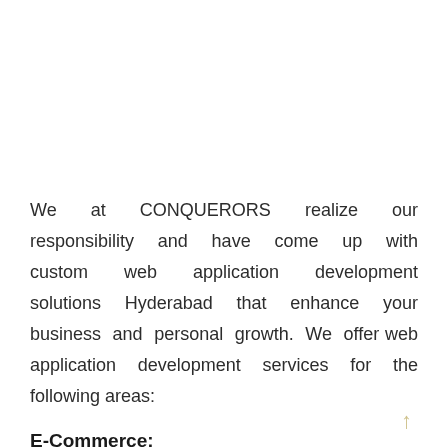We at CONQUERORS realize our responsibility and have come up with custom web application development solutions Hyderabad that enhance your business and personal growth. We offer web application development services for the following areas:
E-Commerce: